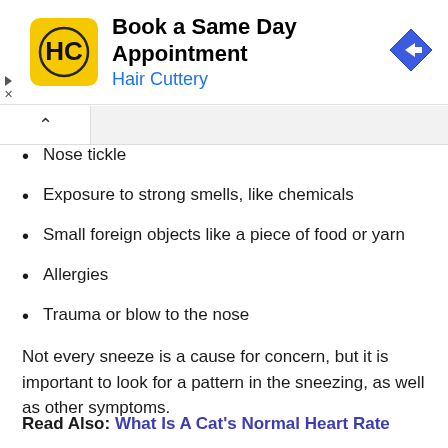[Figure (screenshot): Hair Cuttery advertisement banner with logo, title 'Book a Same Day Appointment', subtitle 'Hair Cuttery', and navigation arrow icon]
Nose tickle
Exposure to strong smells, like chemicals
Small foreign objects like a piece of food or yarn
Allergies
Trauma or blow to the nose
Not every sneeze is a cause for concern, but it is important to look for a pattern in the sneezing, as well as other symptoms.
Read Also: What Is A Cat's Normal Heart Rate